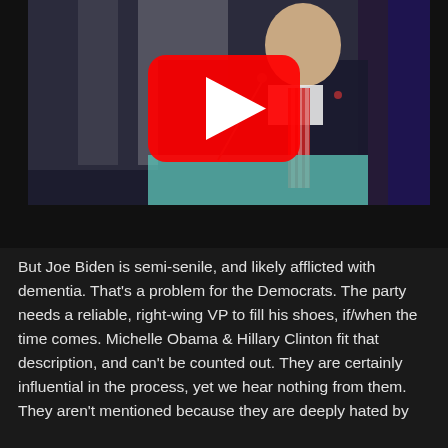[Figure (screenshot): YouTube video thumbnail showing a man in a dark suit and red striped tie speaking at a podium, with a large red YouTube play button overlay in the center. Below the thumbnail is a black progress/control bar.]
But Joe Biden is semi-senile, and likely afflicted with dementia. That's a problem for the Democrats. The party needs a reliable, right-wing VP to fill his shoes, if/when the time comes. Michelle Obama & Hillary Clinton fit that description, and can't be counted out. They are certainly influential in the process, yet we hear nothing from them. They aren't mentioned because they are deeply hated by